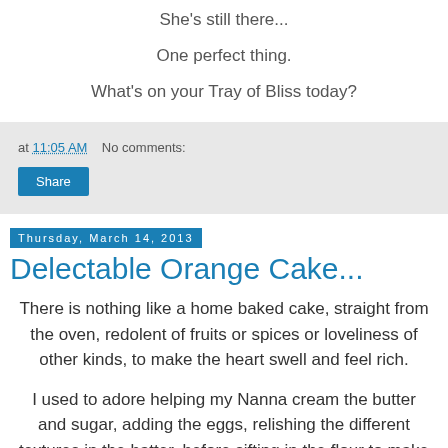She's still there...
One perfect thing.
What's on your Tray of Bliss today?
at 11:05 AM   No comments:
Share
Thursday, March 14, 2013
Delectable Orange Cake...
There is nothing like a home baked cake, straight from the oven, redolent of fruits or spices or loveliness of other kinds, to make the heart swell and feel rich.
I used to adore helping my Nanna cream the butter and sugar, adding the eggs, relishing the different textures in the batter, before sifting in the flour to make what I knew was